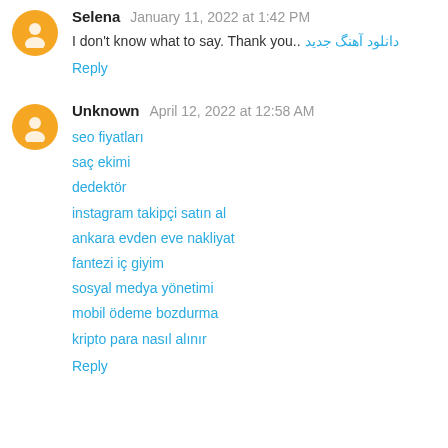Selena January 11, 2022 at 1:42 PM
I don't know what to say. Thank you.. دانلود آهنگ جدید
Reply
Unknown April 12, 2022 at 12:58 AM
seo fiyatları
saç ekimi
dedektör
instagram takipçi satın al
ankara evden eve nakliyat
fantezi iç giyim
sosyal medya yönetimi
mobil ödeme bozdurma
kripto para nasıl alınır
Reply